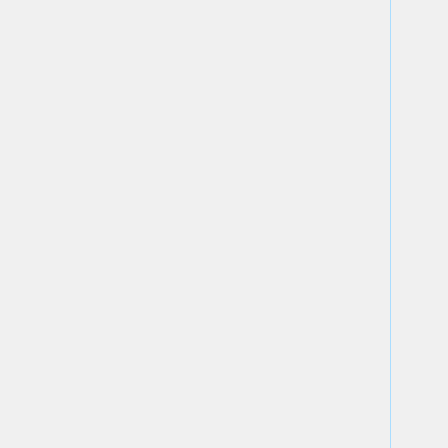| Feature | Status |
| --- | --- |
|  | No=red | WIP=orange | Untested=yellow | N/A=lightgray yellow }}" | N/ |
| Miscellaneous |  |
| Sensors / fan control | OK=lime | TODO=red | No=red | WIP=orange | Untested=yel | N/A=lightgra yellow }}" | W |
| Hardware watchdog | OK=lime | TODO=red | No=red | WIP=orange | Untested=yel | N/A=fightgra yellow }}" | W |
| SMBus | OK=lime | TODO=red | No=red |